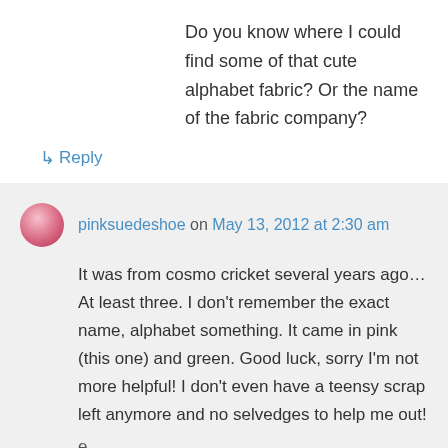Do you know where I could find some of that cute alphabet fabric? Or the name of the fabric company?
↳ Reply
pinksuedeshoe on May 13, 2012 at 2:30 am
It was from cosmo cricket several years ago… At least three. I don't remember the exact name, alphabet something. It came in pink (this one) and green. Good luck, sorry I'm not more helpful! I don't even have a teensy scrap left anymore and no selvedges to help me out!
e